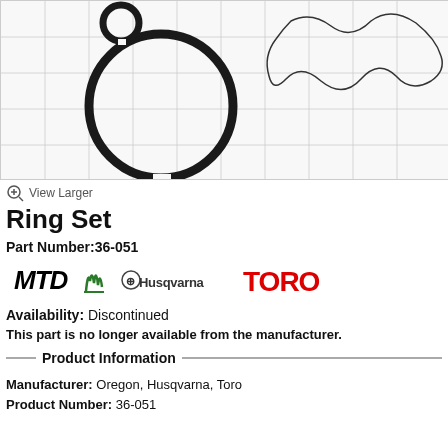[Figure (photo): Product photo of a Ring Set showing two piston rings (one large circular ring and one smaller ring) and a wavy spring ring, photographed on a grid/graph paper background.]
View Larger
Ring Set
Part Number:36-051
[Figure (logo): Brand logos: MTD, Husqvarna, and TORO]
Availability: Discontinued
This part is no longer available from the manufacturer.
Product Information
Manufacturer: Oregon, Husqvarna, Toro
Product Number: 36-051